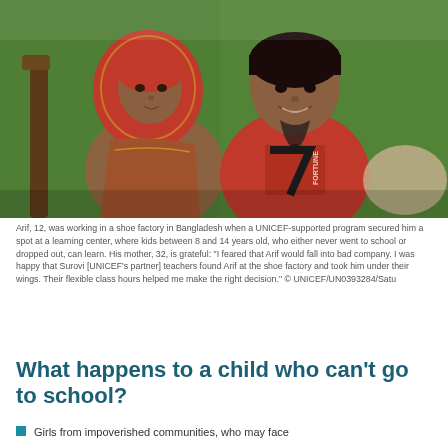[Figure (photo): A woman in a red and gold headscarf and a boy wearing a red 'FORTUNE 7' shirt sit together in front of a green wall. The boy is smiling. They appear to be sitting on a bed.]
Arif, 12, was working in a shoe factory in Bangladesh when a UNICEF-supported program secured him a spot at a learning center, where kids between 8 and 14 years old, who either never went to school or dropped out, can learn. His mother, 32, is grateful: "I feared that Arif would fall into bad company. I was happy that Surovi [UNICEF's partner] teachers found Arif at the shoe factory and took him under their wings. Their flexible class hours helped me make the right decision." © UNICEF/UN0393284/Satu
What happens to a child who can't go to school?
Girls from impoverished communities, who may face